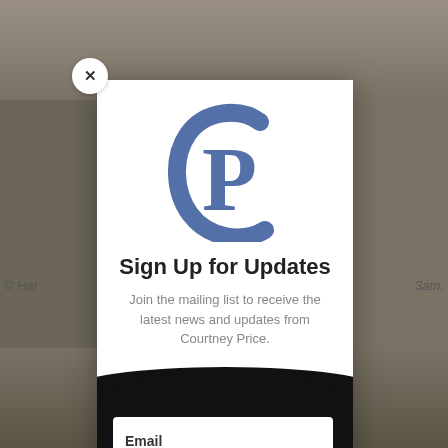[Figure (photo): Sepia-toned background photograph of a room scene]
© Har
3am,
[Figure (logo): CP monogram logo in blue/slate color — overlapping C and P letters]
Sign Up for Updates
Join the mailing list to receive the latest news and updates from Courtney Price.
Email